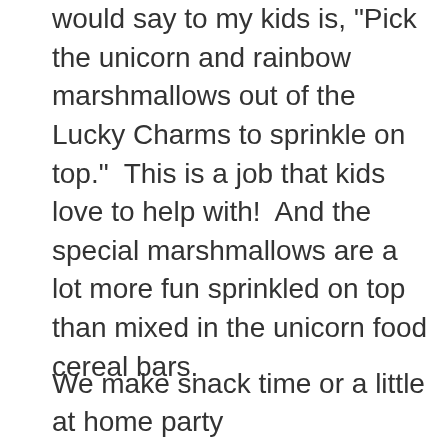would say to my kids is, "Pick the unicorn and rainbow marshmallows out of the Lucky Charms to sprinkle on top."  This is a job that kids love to help with!  And the special marshmallows are a lot more fun sprinkled on top than mixed in the unicorn food cereal bars.
We make snack time or a little at home party